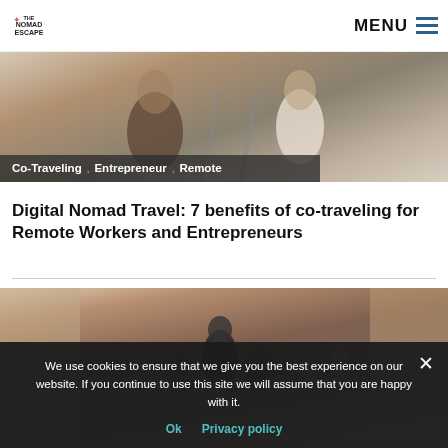THE NOMAD ESCAPE | MENU
[Figure (photo): Two people walking on railway tracks, partial view from behind, warm tones. Overlay shows category tags: Co-Traveling, Entrepreneur, Remote]
Co-Traveling , Entrepreneur , Remote
Digital Nomad Travel: 7 benefits of co-traveling for Remote Workers and Entrepreneurs
[Figure (photo): People walking through a narrow European street, shot from behind, urban scene with warm hazy tones]
We use cookies to ensure that we give you the best experience on our website. If you continue to use this site we will assume that you are happy with it.
Ok   Privacy policy